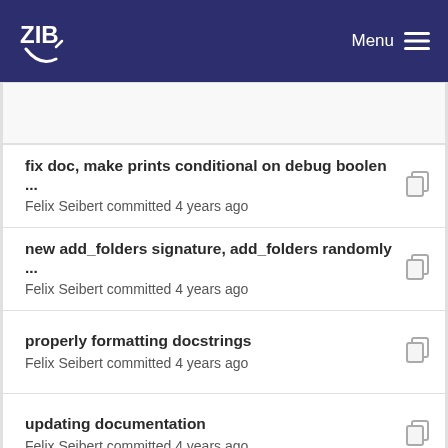ZIB Menu
fix doc, make prints conditional on debug boolen ...
Felix Seibert committed 4 years ago
new add_folders signature, add_folders randomly ...
Felix Seibert committed 4 years ago
properly formatting docstrings
Felix Seibert committed 4 years ago
updating documentation
Felix Seibert committed 4 years ago
properly formatting docstrings
Felix Seibert committed 4 years ago
new add_folders signature, add_folders randomly ...
Felix Seibert committed 4 years ago